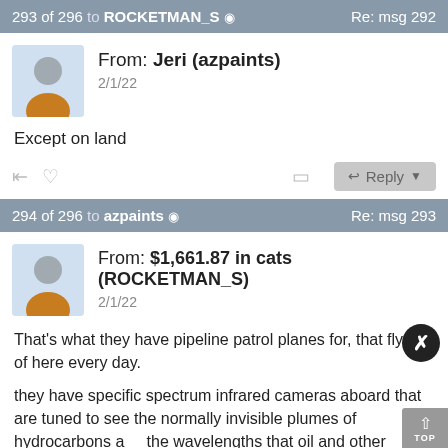293 of 296 to ROCKETMAN_S  Re: msg 292
From: Jeri (azpaints)
2/1/22
Except on land
294 of 296 to azpaints  Re: msg 293
From: $1,661.87 in cats (ROCKETMAN_S)
2/1/22
That's what they have pipeline patrol planes for, that fly out of here every day.
they have specific spectrum infrared cameras aboard that are tuned to see the normally invisible plumes of hydrocarbons at the wavelengths that oil and other flammable liquids absorb.
So normal terrain looks bright in these wavelengths but a plume of gas looks almost black, as does that given off by evaporation